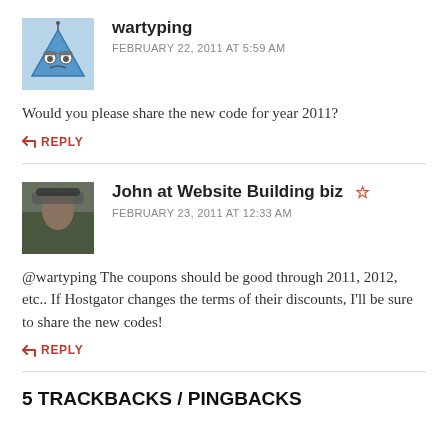[Figure (illustration): Avatar image for user wartyping - cartoon triangle character with glasses]
wartyping
FEBRUARY 22, 2011 AT 5:59 AM
Would you please share the new code for year 2011?
REPLY
[Figure (photo): Profile photo of John at Website Building biz - man wearing hat outdoors]
John at Website Building biz ☆
FEBRUARY 23, 2011 AT 12:33 AM
@wartyping The coupons should be good through 2011, 2012, etc.. If Hostgator changes the terms of their discounts, I'll be sure to share the new codes!
REPLY
5 TRACKBACKS / PINGBACKS